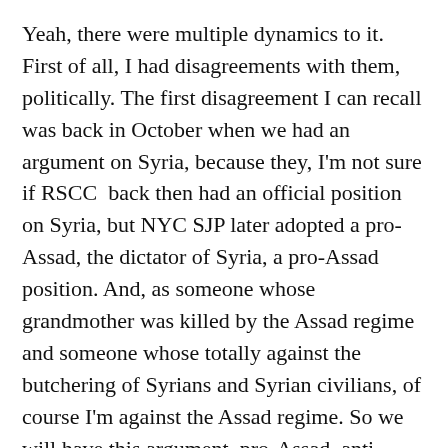Yeah, there were multiple dynamics to it. First of all, I had disagreements with them, politically. The first disagreement I can recall was back in October when we had an argument on Syria, because they, I'm not sure if RSCC back then had an official position on Syria, but NYC SJP later adopted a pro-Assad, the dictator of Syria, a pro-Assad position. And, as someone whose grandmother was killed by the Assad regime and someone whose totally against the butchering of Syrians and Syrian civilians, of course I'm against the Assad regime. So we will have this argument, pro-Assad, anti-Assad, and I wasn't also online with their own politics. So, one time, I even called for us to use the term, human rights, and they had someone shout at me and say, “Human rights is a liberal term.”